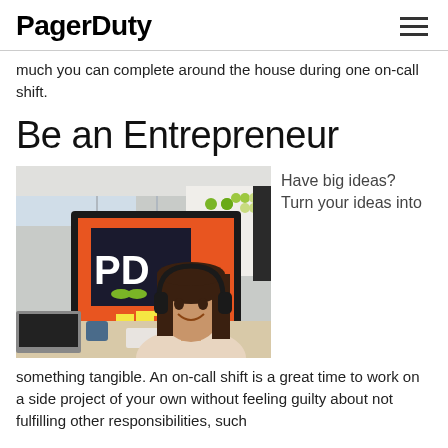PagerDuty
much you can complete around the house during one on-call shift.
Be an Entrepreneur
[Figure (photo): A woman wearing headphones sits at a desk with a large monitor displaying the PagerDuty 'PD' logo, smiling at the camera in an office environment.]
Have big ideas? Turn your ideas into
something tangible. An on-call shift is a great time to work on a side project of your own without feeling guilty about not fulfilling other responsibilities, such